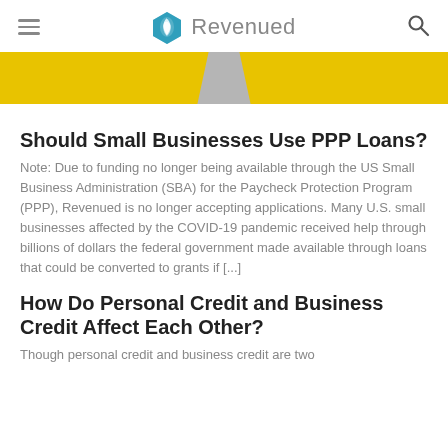Revenued
[Figure (illustration): Yellow hero banner with a road/trapezoid shape in grey at center, representing a highway or path.]
Should Small Businesses Use PPP Loans?
Note: Due to funding no longer being available through the US Small Business Administration (SBA) for the Paycheck Protection Program (PPP), Revenued is no longer accepting applications. Many U.S. small businesses affected by the COVID-19 pandemic received help through billions of dollars the federal government made available through loans that could be converted to grants if [...]
How Do Personal Credit and Business Credit Affect Each Other?
Though personal credit and business credit are two